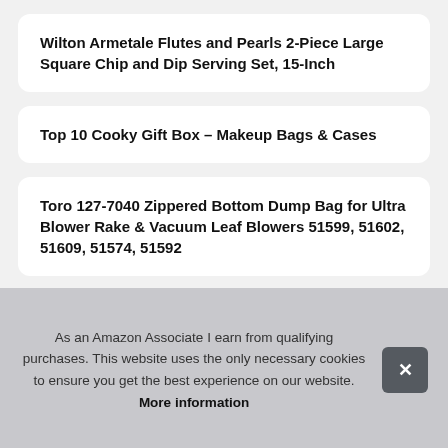Wilton Armetale Flutes and Pearls 2-Piece Large Square Chip and Dip Serving Set, 15-Inch
Top 10 Cooky Gift Box – Makeup Bags & Cases
Toro 127-7040 Zippered Bottom Dump Bag for Ultra Blower Rake & Vacuum Leaf Blowers 51599, 51602, 51609, 51574, 51592
As an Amazon Associate I earn from qualifying purchases. This website uses the only necessary cookies to ensure you get the best experience on our website. More information